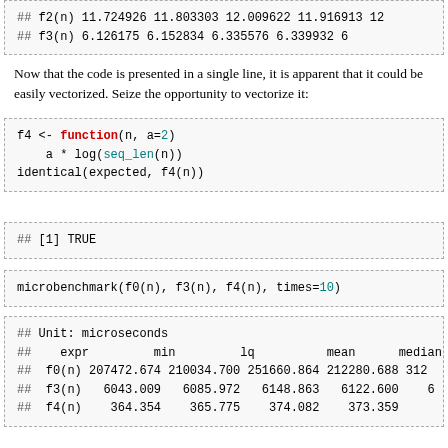| ## | expr | min | lq | mean | median | ... |
| --- | --- | --- | --- | --- | --- | --- |
| ## | f2(n) | 11.724926 | 11.803303 | 12.009622 | 11.916913 | 12... |
| ## | f3(n) | 6.126175 | 6.152834 | 6.335576 | 6.339932 | 6... |
Now that the code is presented in a single line, it is apparent that it could be easily vectorized. Seize the opportunity to vectorize it:
f4 <- function(n, a=2)
    a * log(seq_len(n))
identical(expected, f4(n))
## [1] TRUE
microbenchmark(f0(n), f3(n), f4(n), times=10)
| ## | expr | min | lq | mean | median | ... |
| --- | --- | --- | --- | --- | --- | --- |
| ## |  | Unit: microseconds |  |  |  |  |
| ## | expr | min | lq | mean | median |  |
| ## | f0(n) | 207472.674 | 210034.700 | 251660.864 | 212280.688 | 312... |
| ## | f3(n) | 6043.009 | 6085.972 | 6148.863 | 6122.600 | 6... |
| ## | f4(n) | 364.354 | 365.775 | 374.082 | 373.359 |  |